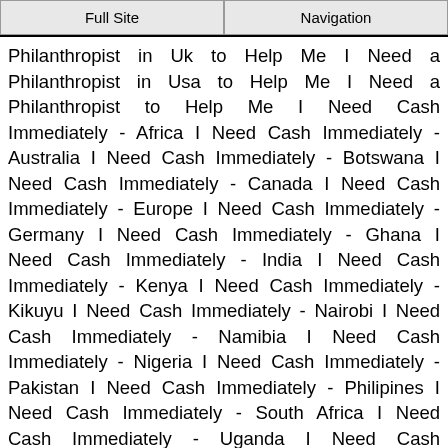Full Site | Navigation
Philanthropist in Uk to Help Me I Need a Philanthropist in Usa to Help Me I Need a Philanthropist to Help Me I Need Cash Immediately - Africa I Need Cash Immediately - Australia I Need Cash Immediately - Botswana I Need Cash Immediately - Canada I Need Cash Immediately - Europe I Need Cash Immediately - Germany I Need Cash Immediately - Ghana I Need Cash Immediately - India I Need Cash Immediately - Kenya I Need Cash Immediately - Kikuyu I Need Cash Immediately - Nairobi I Need Cash Immediately - Namibia I Need Cash Immediately - Nigeria I Need Cash Immediately - Pakistan I Need Cash Immediately - Philipines I Need Cash Immediately - South Africa I Need Cash Immediately - Uganda I Need Cash Immediately - Uk I Need Cash Immediately - Usa I Need Cash Immediately - Zambia I Need Cash Immediately - Zimbabwe I Need Cash Immediately in Africa I